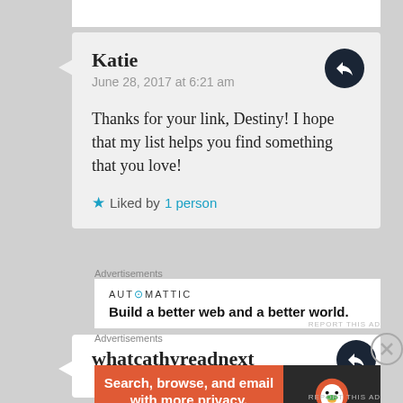Katie
June 28, 2017 at 6:21 am
Thanks for your link, Destiny! I hope that my list helps you find something that you love!
★ Liked by 1 person
Advertisements
[Figure (logo): AUTOMATTIC logo with circle O in place of O]
Build a better web and a better world.
REPORT THIS AD
whatcathyreadnext
Advertisements
[Figure (infographic): DuckDuckGo advertisement banner: 'Search, browse, and email with more privacy. All in One Free App' with DuckDuckGo logo on dark right panel]
REPORT THIS AD